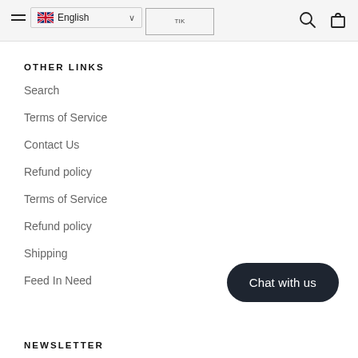English | [logo] | search | bag
OTHER LINKS
Search
Terms of Service
Contact Us
Refund policy
Terms of Service
Refund policy
Shipping
Feed In Need
Chat with us
NEWSLETTER